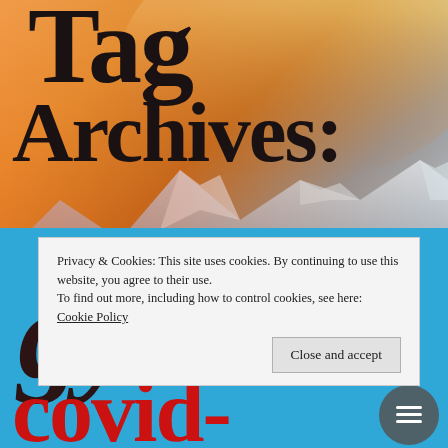[Figure (photo): Mountain landscape at sunrise with orange and golden sky, snow-capped peaks in the background, serving as a hero background image]
Tag Archives: gym
Privacy & Cookies: This site uses cookies. By continuing to use this website, you agree to their use.
To find out more, including how to control cookies, see here: Cookie Policy
Close and accept
covid-